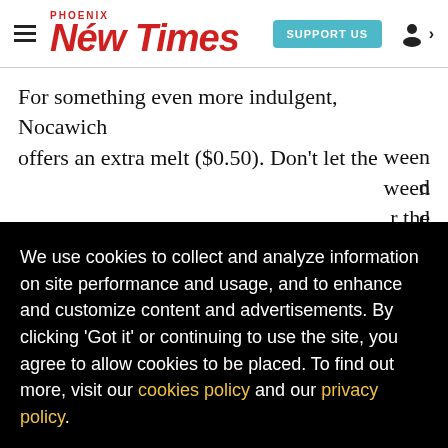Phoenix New Times — SUPPORT US
For something even more indulgent, Nocawich offers an extra melt ($0.50). Don't let the [text continues behind cookie overlay] ...ween ...d ...r the ...t's ...er ...e of ...and ...ssy ...g bad ...t
We use cookies to collect and analyze information on site performance and usage, and to enhance and customize content and advertisements. By clicking 'Got it' or continuing to use the site, you agree to allow cookies to be placed. To find out more, visit our cookies policy and our privacy policy.
Got it!
fully if the experience calls for that type of